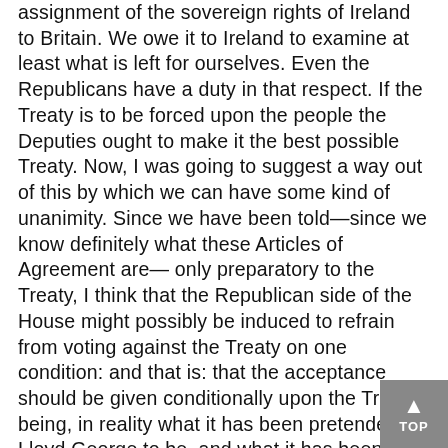assignment of the sovereign rights of Ireland to Britain. We owe it to Ireland to examine at least what is left for ourselves. Even the Republicans have a duty in that respect. If the Treaty is to be forced upon the people the Deputies ought to make it the best possible Treaty. Now, I was going to suggest a way out of this by which we can have some kind of unanimity. Since we have been told—since we know definitely what these Articles of Agreement are— only preparatory to the Treaty, I think that the Republican side of the House might possibly be induced to refrain from voting against the Treaty on one condition: and that is: that the acceptance should be given conditionally upon the Treaty being, in reality what it has been pretended by Lloyd George to be, and what it has been represented as to the Irish people. They say that they give us the same liberty as Canada. Well, in a sense, Canada is completely free, because she is a daughter of the Empire; and she has complete internal freedom now. But I would like to know are the supporters of the Treaty prepared to make it a condition of their acceptance that Ireland shall have the same real